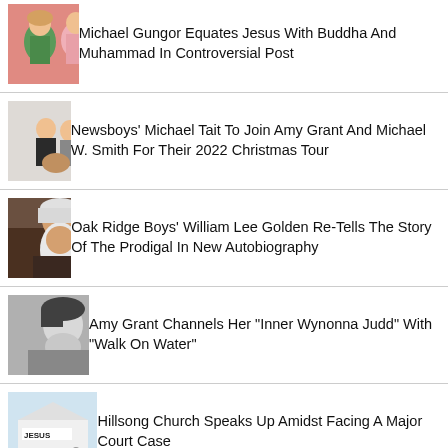[Figure (photo): Two people, a woman in green dress and a man in pink shirt, against a pink background]
Michael Gungor Equates Jesus With Buddha And Muhammad In Controversial Post
[Figure (photo): Group portrait of people sitting, formal attire, light background]
Newsboys' Michael Tait To Join Amy Grant And Michael W. Smith For Their 2022 Christmas Tour
[Figure (photo): Elderly man with long white beard, outdoors background]
Oak Ridge Boys' William Lee Golden Re-Tells The Story Of The Prodigal In New Autobiography
[Figure (photo): Black and white portrait of a woman in profile]
Amy Grant Channels Her "Inner Wynonna Judd" With "Walk On Water"
[Figure (photo): Church building with JESUS sign, people gathered outside]
Hillsong Church Speaks Up Amidst Facing A Major Court Case